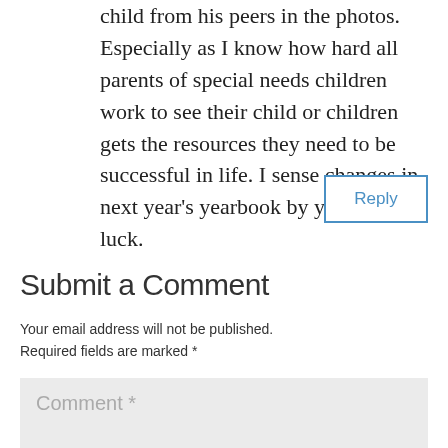child from his peers in the photos. Especially as I know how hard all parents of special needs children work to see their child or children gets the resources they need to be successful in life. I sense changes in next year's yearbook by you. Good luck.
Reply
Submit a Comment
Your email address will not be published. Required fields are marked *
Comment *